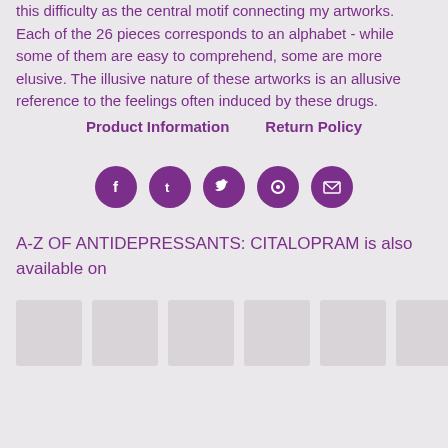this difficulty as the central motif connecting my artworks. Each of the 26 pieces corresponds to an alphabet - while some of them are easy to comprehend, some are more elusive. The illusive nature of these artworks is an allusive reference to the feelings often induced by these drugs.
Product Information    Return Policy
[Figure (infographic): Five purple circular social media icons: Facebook, Tumblr, Twitter, Pinterest, and Email/Envelope]
A-Z OF ANTIDEPRESSANTS: CITALOPRAM is also available on
[Figure (infographic): Six grey placeholder thumbnail images in a horizontal row]